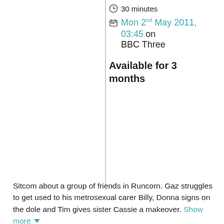30 minutes
Mon 2nd May 2011, 03:45 on BBC Three
Available for 3 months
Sitcom about a group of friends in Runcorn. Gaz struggles to get used to his metrosexual carer Billy, Donna signs on the dole and Tim gives sister Cassie a makeover. Show more
Contributors
Gaz: Will Mellor
Donna: Natalie Casey
Tim: Luke Gell
Cassie: Georgia Henshaw
Billy: Freddie Hogan
Amy: Catherine Tyldesley